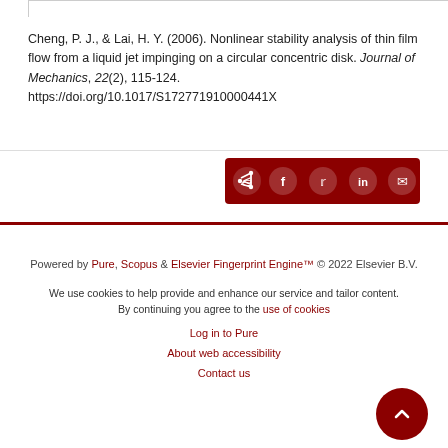Cheng, P. J., & Lai, H. Y. (2006). Nonlinear stability analysis of thin film flow from a liquid jet impinging on a circular concentric disk. Journal of Mechanics, 22(2), 115-124. https://doi.org/10.1017/S172771910000441X
[Figure (other): Social share bar with icons for share, Facebook, Twitter, LinkedIn, and email on dark red background]
Powered by Pure, Scopus & Elsevier Fingerprint Engine™ © 2022 Elsevier B.V.
We use cookies to help provide and enhance our service and tailor content. By continuing you agree to the use of cookies
Log in to Pure
About web accessibility
Contact us